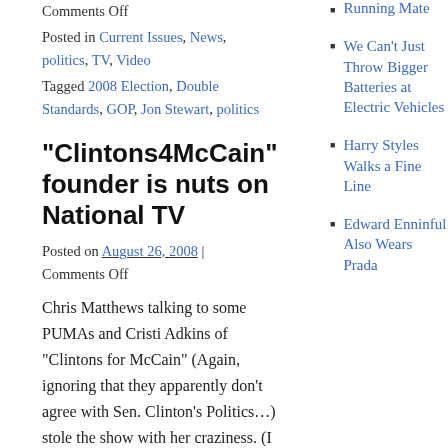Comments Off
Posted in Current Issues, News, politics, TV, Video
Tagged 2008 Election, Double Standards, GOP, Jon Stewart, politics
“Clintons4McCain” founder is nuts on National TV
Posted on August 26, 2008 | Comments Off
Chris Matthews talking to some PUMAs and Cristi Adkins of “Clintons for McCain” (Again, ignoring that they apparently don’t agree with Sen. Clinton’s Politics…) stole the show with her craziness. (I am So NOT linking to those
Running Mate
We Can’t Just Throw Bigger Batteries at Electric Vehicles
Harry Styles Walks a Fine Line
Edward Enninful Also Wears Prada